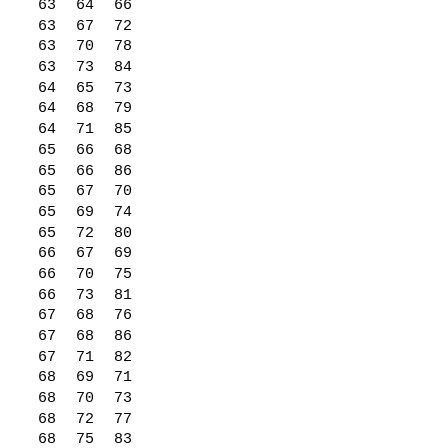| 63 | 64 | 66 |
| 63 | 67 | 72 |
| 63 | 70 | 78 |
| 63 | 73 | 84 |
| 64 | 65 | 73 |
| 64 | 68 | 79 |
| 64 | 71 | 85 |
| 65 | 66 | 68 |
| 65 | 66 | 86 |
| 65 | 67 | 70 |
| 65 | 69 | 74 |
| 65 | 72 | 80 |
| 66 | 67 | 69 |
| 66 | 70 | 75 |
| 66 | 73 | 81 |
| 67 | 68 | 76 |
| 67 | 68 | 86 |
| 67 | 71 | 82 |
| 68 | 69 | 71 |
| 68 | 70 | 73 |
| 68 | 72 | 77 |
| 68 | 75 | 83 |
| 69 | 70 | 72 |
| 69 | 70 | 86 |
| 69 | 73 | 78 |
| 69 | 76 | 84 |
| 70 | 71 | 79 |
| 70 | 74 | 85 |
| 71 | 72 | 74 |
| 71 | 72 | 86 |
| 71 | 72 | 76 |